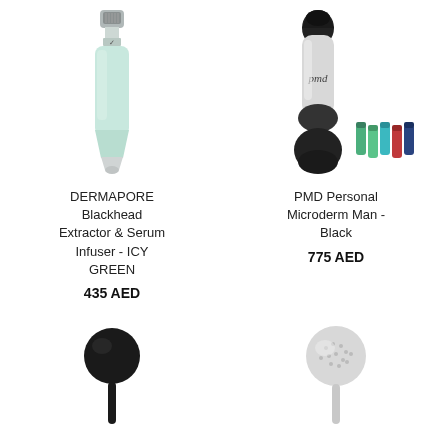[Figure (photo): DERMAPORE Blackhead Extractor & Serum Infuser device in ICY GREEN color - a long tube-shaped device with mint green body and gray cap]
DERMAPORE Blackhead Extractor & Serum Infuser - ICY GREEN
435 AED
[Figure (photo): PMD Personal Microderm Man in Black color - a black and gray handheld device with multiple colored replacement tips/discs]
PMD Personal Microderm Man - Black
775 AED
[Figure (photo): A black round facial cleansing brush device on a handle]
[Figure (photo): A white/gray round facial cleansing brush device on a handle]